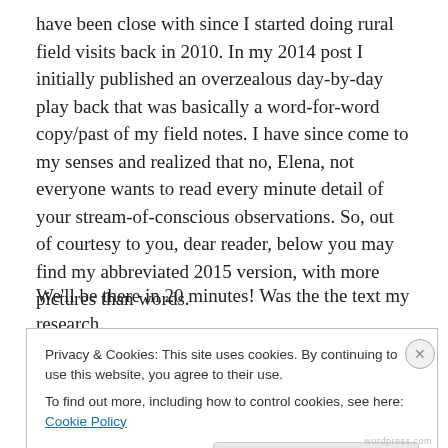have been close with since I started doing rural field visits back in 2010. In my 2014 post I initially published an overzealous day-by-day play back that was basically a word-for-word copy/past of my field notes. I have since come to my senses and realized that no, Elena, not everyone wants to read every minute detail of your stream-of-conscious observations. So, out of courtesy to you, dear reader, below you may find my abbreviated 2015 version, with more pictures than words.
We'll be there in 20 minutes! Was the the text my research
Privacy & Cookies: This site uses cookies. By continuing to use this website, you agree to their use.
To find out more, including how to control cookies, see here: Cookie Policy
Close and accept